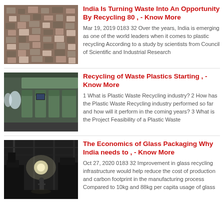[Figure (photo): Overhead view of waste/trash items spread out on a surface]
India Is Turning Waste Into An Opportunity By Recycling 80 , - Know More
Mar 19, 2019 0183 32 Over the years, India is emerging as one of the world leaders when it comes to plastic recycling According to a study by scientists from Council of Scientific and Industrial Research
[Figure (photo): Interior of an aircraft cabin showing seats and overhead bins]
Recycling of Waste Plastics Starting , - Know More
1 What is Plastic Waste Recycling industry? 2 How has the Plastic Waste Recycling industry performed so far and how will it perform in the coming years? 3 What is the Project Feasibility of a Plastic Waste
[Figure (photo): Industrial interior with machinery and a person standing in a large warehouse or factory]
The Economics of Glass Packaging Why India needs to , - Know More
Oct 27, 2020 0183 32 Improvement in glass recycling infrastructure would help reduce the cost of production and carbon footprint in the manufacturing process Compared to 10kg and 88kg per capita usage of glass